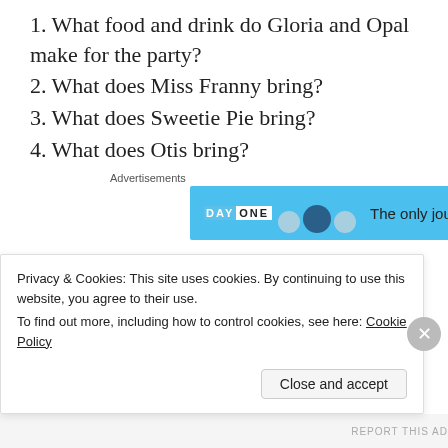1. What food and drink do Gloria and Opal make for the party?
2. What does Miss Franny bring?
3. What does Sweetie Pie bring?
4. What does Otis bring?
[Figure (screenshot): Advertisement banner: DAY ONE app with blue background, circles/avatars, and text 'The only journaling']
Chapter Twenty-Two
1. What 4 things does the preacher thank God for?
Privacy & Cookies: This site uses cookies. By continuing to use this website, you agree to their use. To find out more, including how to control cookies, see here: Cookie Policy
Close and accept